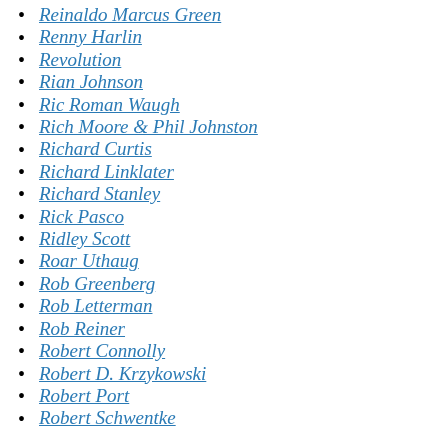Reinaldo Marcus Green
Renny Harlin
Revolution
Rian Johnson
Ric Roman Waugh
Rich Moore & Phil Johnston
Richard Curtis
Richard Linklater
Richard Stanley
Rick Pasco
Ridley Scott
Roar Uthaug
Rob Greenberg
Rob Letterman
Rob Reiner
Robert Connolly
Robert D. Krzykowski
Robert Port
Robert Schwentke